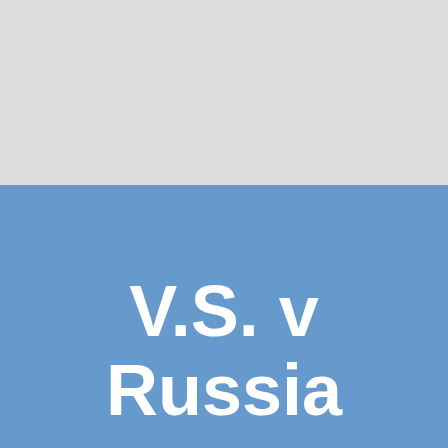[Figure (illustration): Two-tone background: upper portion light gray, lower portion cornflower blue]
V.S. v Russia